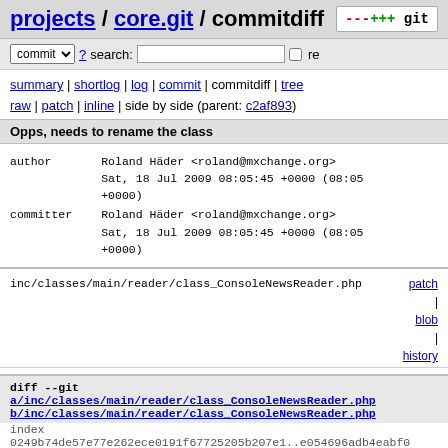projects / core.git / commitdiff
commit ▼ ? search: □ re
summary | shortlog | log | commit | commitdiff | tree
raw | patch | inline | side by side (parent: c2af893)
Opps, needs to rename the class
| field | value |
| --- | --- |
| author | Roland Häder <roland@mxchange.org>
Sat, 18 Jul 2009 08:05:45 +0000 (08:05 +0000) |
| committer | Roland Häder <roland@mxchange.org>
Sat, 18 Jul 2009 08:05:45 +0000 (08:05 +0000) |
inc/classes/main/reader/class_ConsoleNewsReader.php patch | blob | history
diff --git a/inc/classes/main/reader/class_ConsoleNewsReader.php b/inc/classes/main/reader/class_ConsoleNewsReader.php
index
0249b74de57e77e262ece0191f67725205b207e1..e054696adb4eabf0...